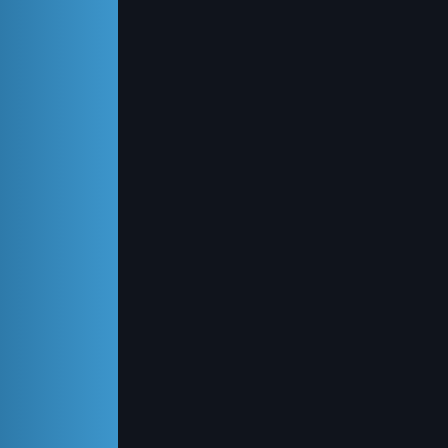[Figure (illustration): Blue textured stripe on left side and large dark/black panel in center of page]
the w They We a is ex inner back of the masc up by Likew their emot their Toda every If eve woul